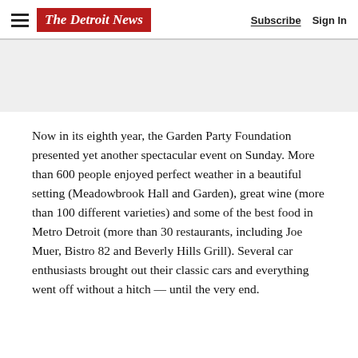The Detroit News — Subscribe  Sign In
[Figure (other): Gray banner/advertisement placeholder area]
Now in its eighth year, the Garden Party Foundation presented yet another spectacular event on Sunday. More than 600 people enjoyed perfect weather in a beautiful setting (Meadowbrook Hall and Garden), great wine (more than 100 different varieties) and some of the best food in Metro Detroit (more than 30 restaurants, including Joe Muer, Bistro 82 and Beverly Hills Grill). Several car enthusiasts brought out their classic cars and everything went off without a hitch — until the very end.